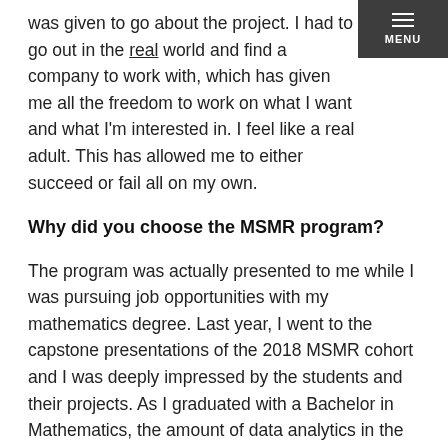was given to go about the project. I had to go out in the real world and find a company to work with, which has given me all the freedom to work on what I want and what I'm interested in. I feel like a real adult. This has allowed me to either succeed or fail all on my own.
Why did you choose the MSMR program?
The program was actually presented to me while I was pursuing job opportunities with my mathematics degree. Last year, I went to the capstone presentations of the 2018 MSMR cohort and I was deeply impressed by the students and their projects. As I graduated with a Bachelor in Mathematics, the amount of data analytics in the program really interested me. Throughout the program, especially during the second semester, I have learned several advanced analytical tools. Then I also get knowledge in marketing, which will help me bridge the communication